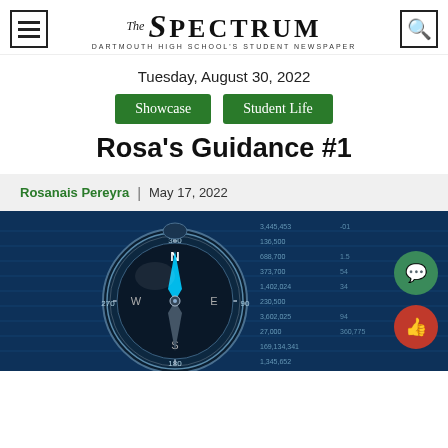The Spectrum — Dartmouth High School's Student Newspaper
Tuesday, August 30, 2022
Showcase  Student Life
Rosa's Guidance #1
Rosanais Pereyra | May 17, 2022
[Figure (photo): A compass resting on financial spreadsheet paper with blue toned lighting, symbolizing financial guidance.]